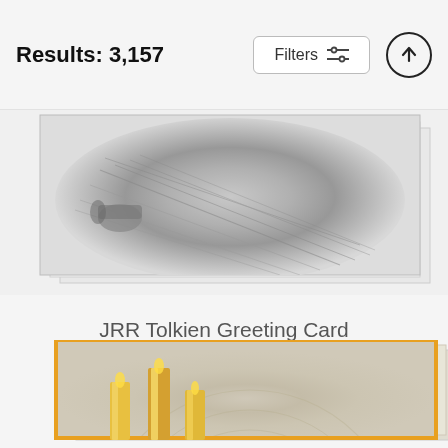Results: 3,157
[Figure (illustration): Pencil sketch detail of JRR Tolkien's hand holding a pipe, rendered in graphite, presented as a greeting card with stacked card effect]
JRR Tolkien Greeting Card
Greg Joens
$5.46 (original price, struck through) $4.37 (sale price)
[Figure (illustration): Bottom of page showing partial view of a second greeting card with orange/gold border, featuring candles on a swirl-patterned background]